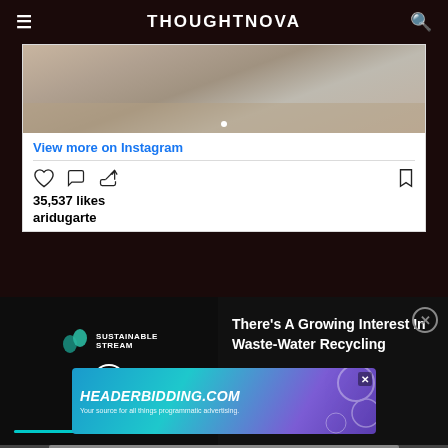THOUGHTNOVA
[Figure (screenshot): Instagram embed showing beach/sand image with foot, 'View more on Instagram' link, heart/comment/share icons, 35,537 likes, username aridugarte]
View more on Instagram
35,537 likes
aridugarte
[Figure (screenshot): Video advertisement for Sustainable Stream about waste-water recycling with play button and progress bar]
There's A Growing Interest In Waste-Water Recycling
[Figure (screenshot): Banner advertisement for HEADERBIDDING.COM - Your source for all things programmatic advertising.]
HEADERBIDDING.COM
Your source for all things programmatic advertising.